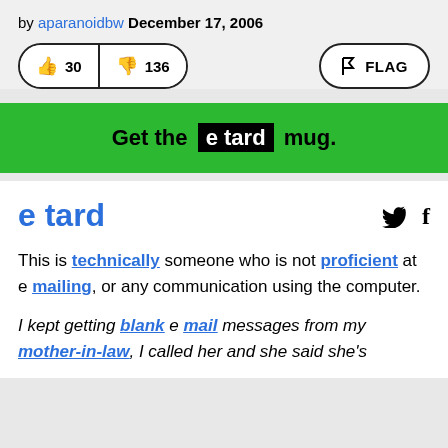by aparanoidbw December 17, 2006
[Figure (other): Vote buttons showing thumbs up 30 and thumbs down 136, and a FLAG button on the right]
Get the e tard mug.
e tard
This is technically someone who is not proficient at e mailing, or any communication using the computer.
I kept getting blank e mail messages from my mother-in-law, I called her and she said she's